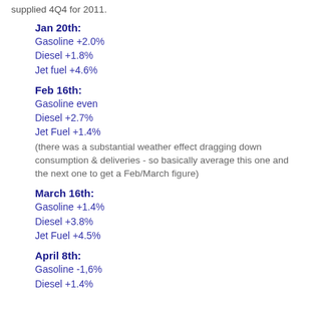supplied 4Q4 for 2011.
Jan 20th:
Gasoline +2.0%
Diesel +1.8%
Jet fuel +4.6%
Feb 16th:
Gasoline even
Diesel +2.7%
Jet Fuel +1.4%
(there was a substantial weather effect dragging down consumption & deliveries - so basically average this one and the next one to get a Feb/March figure)
March 16th:
Gasoline +1.4%
Diesel +3.8%
Jet Fuel +4.5%
April 8th:
Gasoline -1,6%
Diesel +1.4%